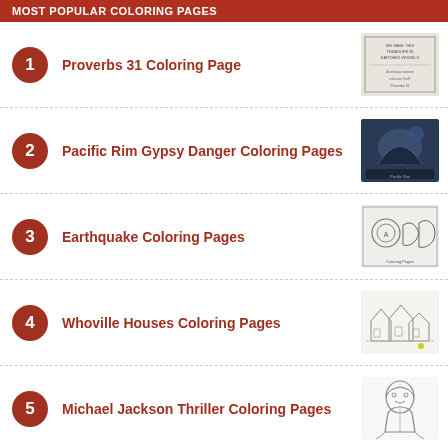MOST POPULAR COLORING PAGES
Proverbs 31 Coloring Page
Pacific Rim Gypsy Danger Coloring Pages
Earthquake Coloring Pages
Whoville Houses Coloring Pages
Michael Jackson Thriller Coloring Pages
Categories